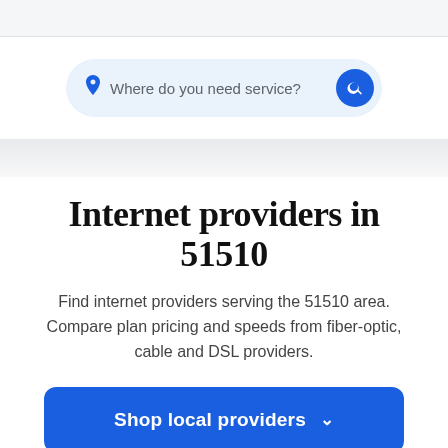[Figure (screenshot): Search bar with location pin icon, placeholder text 'Where do you need service?' and blue search button]
Internet providers in 51510
Find internet providers serving the 51510 area. Compare plan pricing and speeds from fiber-optic, cable and DSL providers.
Shop local providers